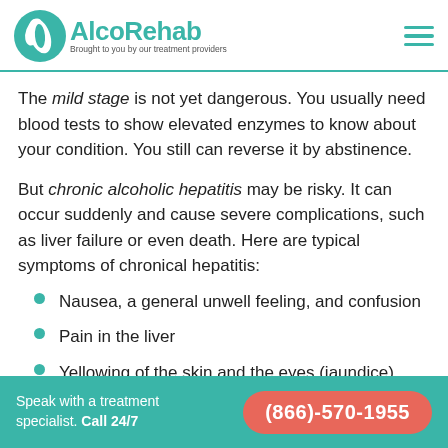AlcoRehab — Brought to you by our treatment providers
The mild stage is not yet dangerous. You usually need blood tests to show elevated enzymes to know about your condition. You still can reverse it by abstinence.
But chronic alcoholic hepatitis may be risky. It can occur suddenly and cause severe complications, such as liver failure or even death. Here are typical symptoms of chronical hepatitis:
Nausea, a general unwell feeling, and confusion
Pain in the liver
Yellowing of the skin and the eyes (jaundice)
Speak with a treatment specialist. Call 24/7  (866)-570-1955